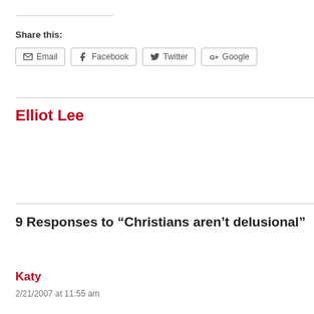Share this:
Email   Facebook   Twitter   Google
Elliot Lee
9 Responses to “Christians aren't delusional”
Katy
2/21/2007 at 11:55 am